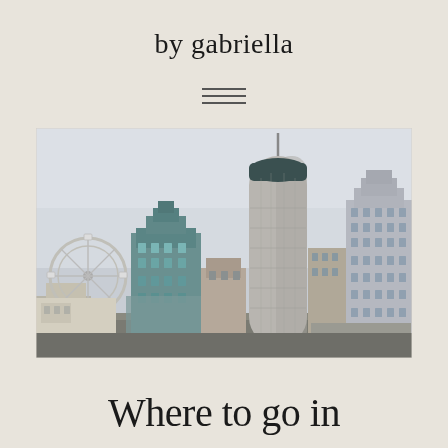by gabriella
[Figure (photo): City skyline photo showing buildings including a tall cylindrical skyscraper in the center, an Art Deco building with a teal/green top on the left, a Ferris wheel on the far left, and another tall building on the right, under overcast grey skies.]
Where to go in